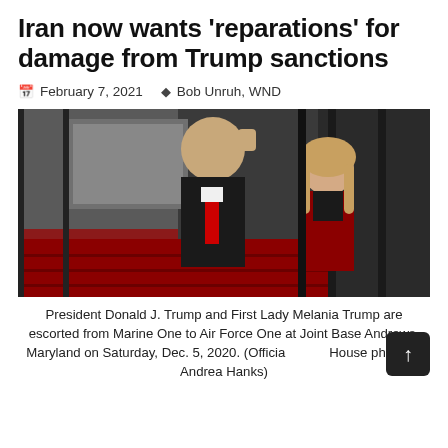Iran now wants 'reparations' for damage from Trump sanctions
February 7, 2021  Bob Unruh, WND
[Figure (photo): President Donald J. Trump (in black coat, raising fist) and First Lady Melania Trump (in red leather jacket) on stairs at Joint Base Andrews, Maryland.]
President Donald J. Trump and First Lady Melania Trump are escorted from Marine One to Air Force One at Joint Base Andrews, Maryland on Saturday, Dec. 5, 2020. (Official White House photo by Andrea Hanks)